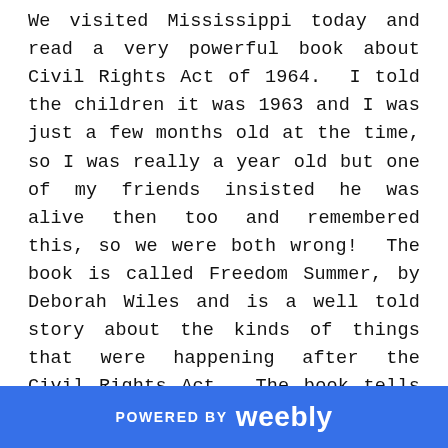We visited Mississippi today and read a very powerful book about Civil Rights Act of 1964.  I told the children it was 1963 and I was just a few months old at the time, so I was really a year old but one of my friends insisted he was alive then too and remembered this, so we were both wrong!  The book is called Freedom Summer, by Deborah Wiles and is a well told story about the kinds of things that were happening after the Civil Rights Act.  The book tells about two friends, one white and one black, who are good friends but cannot swim in the city pool because of segregation.  After the Civil Rights Act, the city fills the pool with asphalt so it cannot be used by anyone.  The two boys are running up the hill, excited to go to the pool when they see this happening.  It's also so interesting to watch the children as I read this part because they
POWERED BY weebly